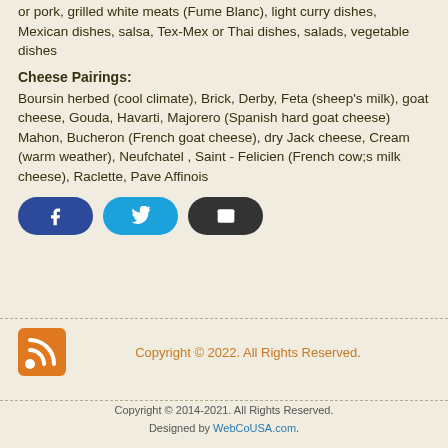or pork, grilled white meats (Fume Blanc), light curry dishes, Mexican dishes, salsa, Tex-Mex or Thai dishes, salads, vegetable dishes
Cheese Pairings:
Boursin herbed (cool climate), Brick, Derby, Feta (sheep's milk), goat cheese, Gouda, Havarti, Majorero (Spanish hard goat cheese) Mahon, Bucheron (French goat cheese), dry Jack cheese, Cream (warm weather), Neufchatel , Saint - Felicien (French cow;s milk cheese), Raclette, Pave Affinois
[Figure (other): Social sharing buttons: Facebook, Twitter, Email]
Copyright © 2022. All Rights Reserved.
Copyright © 2014-2021. All Rights Reserved. Designed by WebCoUSA.com.